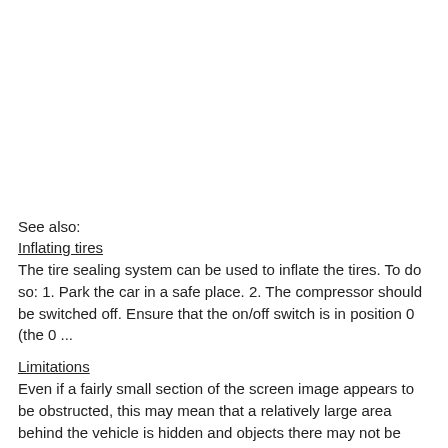See also:
Inflating tires
The tire sealing system can be used to inflate the tires. To do so: 1. Park the car in a safe place. 2. The compressor should be switched off. Ensure that the on/off switch is in position 0 (the 0 ...
Limitations
Even if a fairly small section of the screen image appears to be obstructed, this may mean that a relatively large area behind the vehicle is hidden and objects there may not be detected until ...
Safety